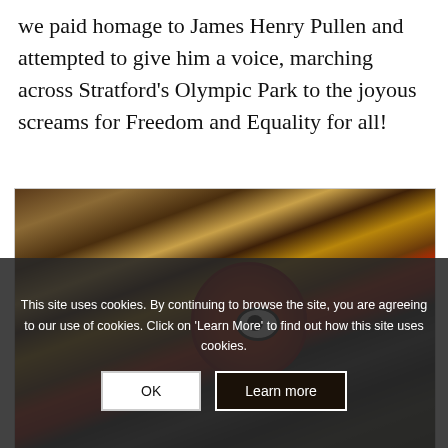we paid homage to James Henry Pullen and attempted to give him a voice, marching across Stratford's Olympic Park to the joyous screams for Freedom and Equality for all!
[Figure (photo): A totem pole or carved wooden figure with a red face and eye design, photographed from below against a wooden overhead structure with beams. The lower portion of the image is partially obscured by a cookie consent overlay.]
This site uses cookies. By continuing to browse the site, you are agreeing to our use of cookies. Click on 'Learn More' to find out how this site uses cookies.